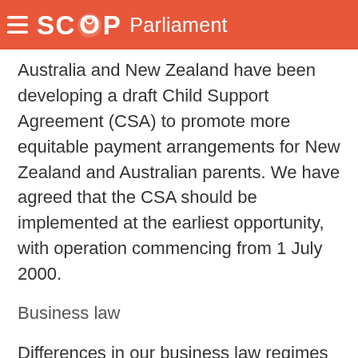SCOOP Parliament
Australia and New Zealand have been developing a draft Child Support Agreement (CSA) to promote more equitable payment arrangements for New Zealand and Australian parents. We have agreed that the CSA should be implemented at the earliest opportunity, with operation commencing from 1 July 2000.
Business law
Differences in our business law regimes can act as impediments to investment and trade. The Memorandum of Understanding on the Harmonisation of Business Laws signed between Australia and New Zealand in July 1988 has resulted in